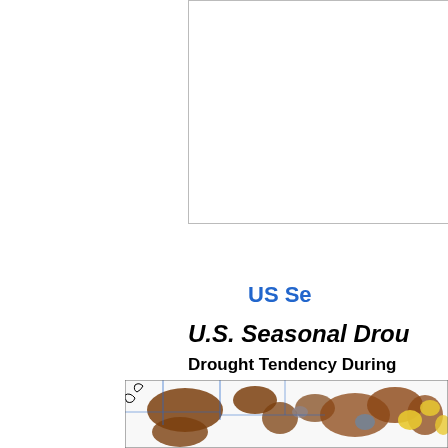[Figure (other): Empty white rectangle with border, partial view at top of page]
US Se
U.S. Seasonal Drou
Drought Tendency During
[Figure (map): Partial US map showing western states with drought tendency regions colored in brown, yellow, blue, and grey, with state borders and rivers visible]